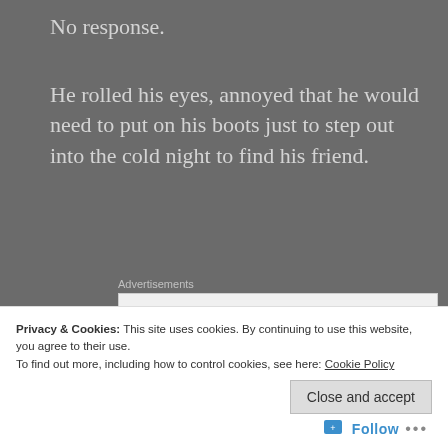No response.
He rolled his eyes, annoyed that he would need to put on his boots just to step out into the cold night to find his friend.
[Figure (screenshot): Advertisement banner with P2 logo and text 'Getting your team on the same page is easy. And free']
If he was honest with himself, Alvin never wanted to take this camping trip anyway. But Martin had talked
Privacy & Cookies: This site uses cookies. By continuing to use this website, you agree to their use.
To find out more, including how to control cookies, see here: Cookie Policy
Close and accept